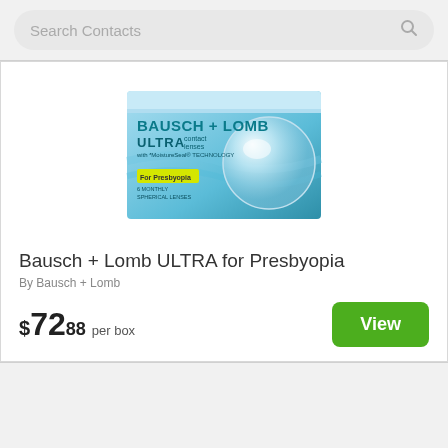Search Contacts
[Figure (photo): Bausch + Lomb ULTRA for Presbyopia contact lens box — teal/blue box with clear lens image and yellow 'For Presbyopia' label]
Bausch + Lomb ULTRA for Presbyopia
By Bausch + Lomb
$72.88 per box
View